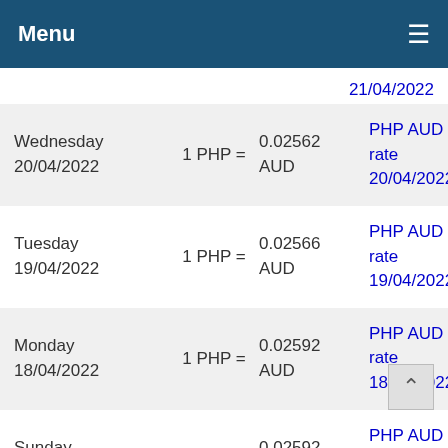Menu
21/04/2022
| Date | Equation | Rate | Link |
| --- | --- | --- | --- |
| Wednesday
20/04/2022 | 1 PHP = | 0.02562
AUD | PHP AUD rate
20/04/2022 |
| Tuesday
19/04/2022 | 1 PHP = | 0.02566
AUD | PHP AUD rate
19/04/2022 |
| Monday
18/04/2022 | 1 PHP = | 0.02592
AUD | PHP AUD rate
18/04/2022 |
| Sunday
17/04/2022 | 1 PHP = | 0.02592
AUD | PHP AUD rate
17/04/2022 |